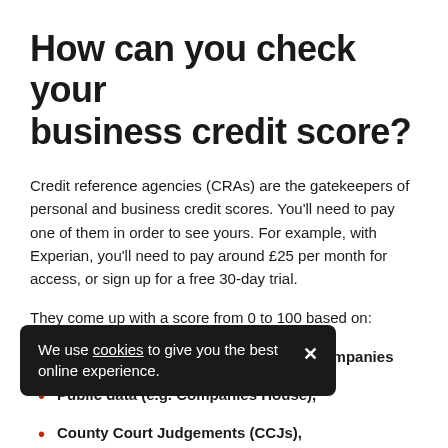How can you check your business credit score?
Credit reference agencies (CRAs) are the gatekeepers of personal and business credit scores. You'll need to pay one of them in order to see yours. For example, with Experian, you'll need to pay around £25 per month for access, or sign up for a free 30-day trial.
They come up with a score from 0 to 100 based on:
Your payment performance to other companies
Public data (e.g. Companies House),
County Court Judgements (CCJs),
Data from your current account providers (e.g.